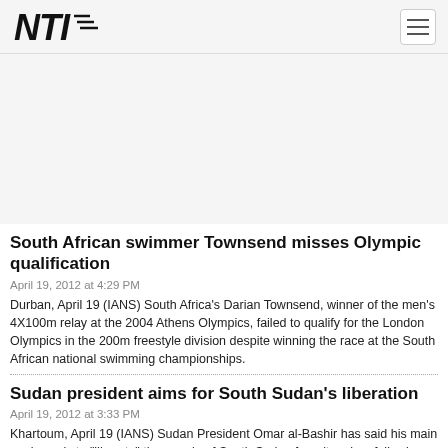NTI logo and navigation
South African swimmer Townsend misses Olympic qualification
April 19, 2012 at 4:29 PM
Durban, April 19 (IANS) South Africa's Darian Townsend, winner of the men's 4X100m relay at the 2004 Athens Olympics, failed to qualify for the London Olympics in the 200m freestyle division despite winning the race at the South African national swimming championships.
Sudan president aims for South Sudan's liberation
April 19, 2012 at 3:33 PM
Khartoum, April 19 (IANS) Sudan President Omar al-Bashir has said his main goal now is to "liberate" the people of South Sudan from its rulers following recent border clashes.